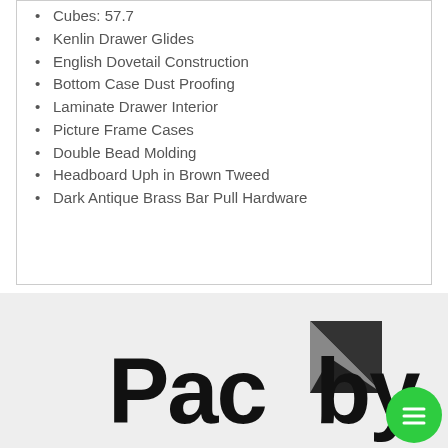Cubes: 57.7
Kenlin Drawer Glides
English Dovetail Construction
Bottom Case Dust Proofing
Laminate Drawer Interior
Picture Frame Cases
Double Bead Molding
Headboard Uph in Brown Tweed
Dark Antique Brass Bar Pull Hardware
[Figure (logo): Pacby logo in black bold text with geometric grey/black diamond/square graphic element, on a light grey background. Green circular chat button in bottom right corner.]